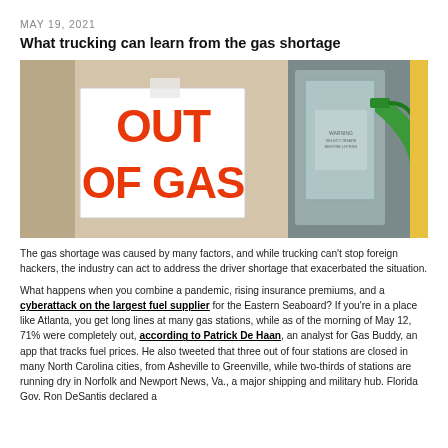MAY 19, 2021
What trucking can learn from the gas shortage
[Figure (photo): Photo of a gas station pump with a white sign reading 'OUT OF GAS' in large orange letters. A green fuel nozzle is visible in the background on a pump unit.]
The gas shortage was caused by many factors, and while trucking can't stop foreign hackers, the industry can act to address the driver shortage that exacerbated the situation.
What happens when you combine a pandemic, rising insurance premiums, and a cyberattack on the largest fuel supplier for the Eastern Seaboard? If you're in a place like Atlanta, you get long lines at many gas stations, while as of the morning of May 12, 71% were completely out, according to Patrick De Haan, an analyst for Gas Buddy, an app that tracks fuel prices. He also tweeted that three out of four stations are closed in many North Carolina cities, from Asheville to Greenville, while two-thirds of stations are running dry in Norfolk and Newport News, Va., a major shipping and military hub. Florida Gov. Ron DeSantis declared a